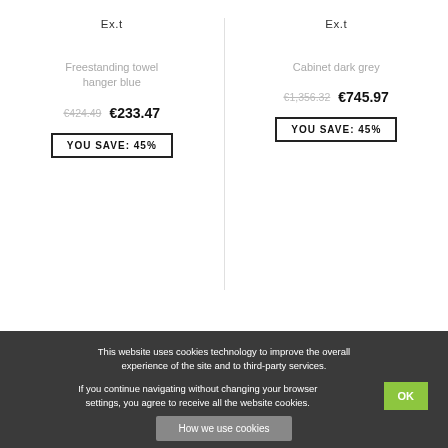Ex.t
Freestanding towel hanger blue
€424.49  €233.47
YOU SAVE: 45%
Ex.t
Cabinet dark grey
€1,356.32  €745.97
YOU SAVE: 45%
This website uses cookies technology to improve the overall experience of the site and to third-party services.

If you continue navigating without changing your browser settings, you agree to receive all the website cookies.

OK

How we use cookies